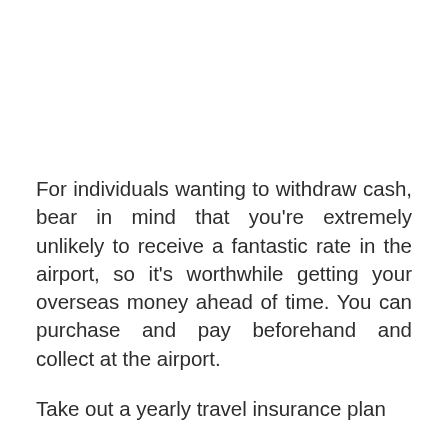For individuals wanting to withdraw cash, bear in mind that you're extremely unlikely to receive a fantastic rate in the airport, so it's worthwhile getting your overseas money ahead of time. You can purchase and pay beforehand and collect at the airport.
Take out a yearly travel insurance plan
Make sure you check through some free travel insurance that accompanies a premium bank account and makes sure these policies satisfy your requirements. There is a range of businesses that offer